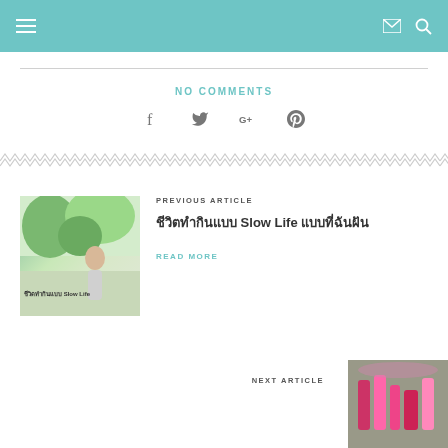Navigation bar with hamburger menu, mail icon, search icon
NO COMMENTS
[Figure (other): Social media icons: Facebook, Twitter, Google+, Pinterest]
[Figure (other): Decorative zigzag/chevron pattern divider]
[Figure (photo): Thumbnail image for previous article showing a woman outdoors, slow life style]
PREVIOUS ARTICLE
ชีวิตทำกินแบบ Slow Life แบบที่ฉันฝัน
READ MORE
NEXT ARTICLE
[Figure (photo): Thumbnail image for next article showing makeup/cosmetics products]